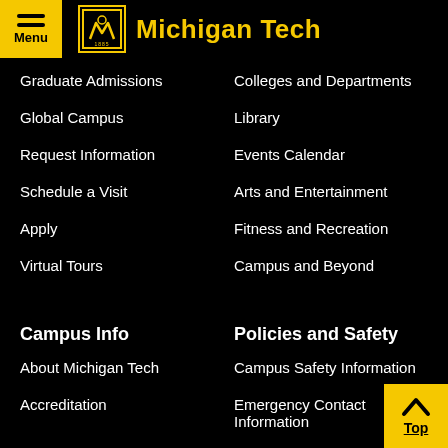Michigan Tech
Graduate Admissions
Colleges and Departments
Global Campus
Library
Request Information
Events Calendar
Schedule a Visit
Arts and Entertainment
Apply
Fitness and Recreation
Virtual Tours
Campus and Beyond
Campus Info
Policies and Safety
About Michigan Tech
Campus Safety Information
Accreditation
Emergency Contact Information
Athletics
Report a Concern